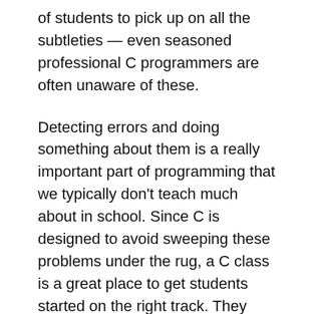of students to pick up on all the subtleties — even seasoned professional C programmers are often unaware of these.
Detecting errors and doing something about them is a really important part of programming that we typically don't teach much about in school. Since C is designed to avoid sweeping these problems under the rug, a C class is a great place to get students started on the right track. They should have to implement a goto chain.
Something I'm leaving out of this post is the content of the assignments that we give the students — this mostly depends on the specific goals of the course and how it fits into the broader